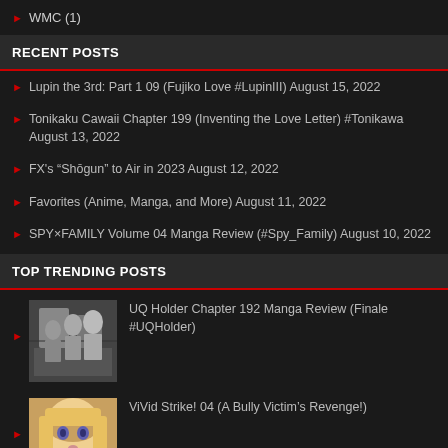WMC (1)
RECENT POSTS
Lupin the 3rd: Part 1 09 (Fujiko Love #LupinIII) August 15, 2022
Tonikaku Cawaii Chapter 199 (Inventing the Love Letter) #Tonikawa August 13, 2022
FX's “Shōgun” to Air in 2023 August 12, 2022
Favorites (Anime, Manga, and More) August 11, 2022
SPY×FAMILY Volume 04 Manga Review (#Spy_Family) August 10, 2022
TOP TRENDING POSTS
[Figure (photo): Black and white manga artwork showing anime characters for UQ Holder]
UQ Holder Chapter 192 Manga Review (Finale #UQHolder)
[Figure (photo): Anime screenshot showing a blonde female character for ViVid Strike]
ViVid Strike! 04 (A Bully Victim's Revenge!)